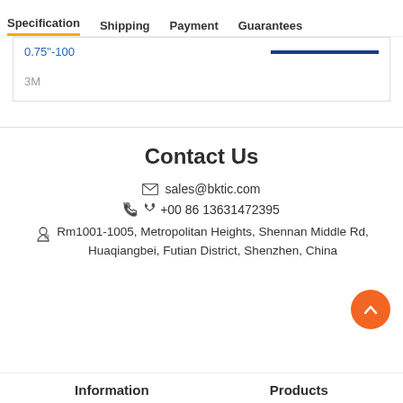Specification  Shipping  Payment  Guarantees
0.75"-100
3M
Contact Us
sales@bktic.com
+00 86 13631472395
Rm1001-1005, Metropolitan Heights, Shennan Middle Rd, Huaqiangbei, Futian District, Shenzhen, China
Information
Products